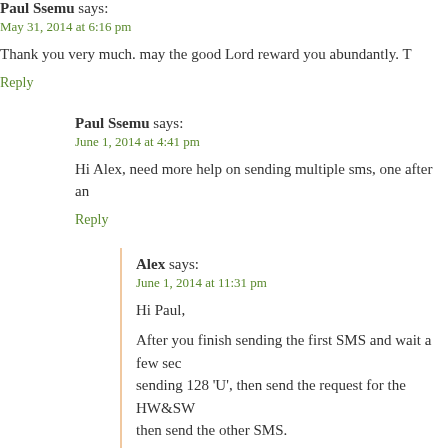Paul Ssemu says:
May 31, 2014 at 6:16 pm
Thank you very much. may the good Lord reward you abundantly. T
Reply
Paul Ssemu says:
June 1, 2014 at 4:41 pm
Hi Alex, need more help on sending multiple sms, one after an
Reply
Alex says:
June 1, 2014 at 11:31 pm
Hi Paul,
After you finish sending the first SMS and wait a few sec sending 128 'U', then send the request for the HW&SW then send the other SMS.
Reply
Paul Ssemu says:
June 3, 2014 at 3:12 pm
Thanks. It works.